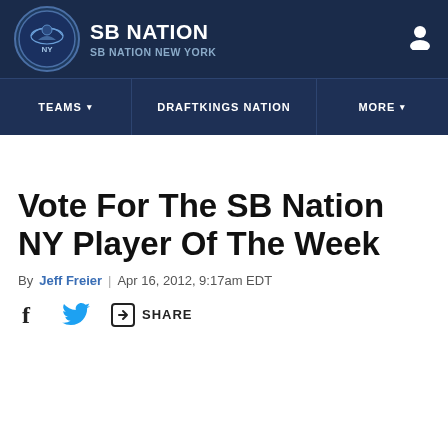SB NATION / SB NATION NEW YORK
TEAMS ▾ | DRAFTKINGS NATION | MORE ▾
Vote For The SB Nation NY Player Of The Week
By Jeff Freier | Apr 16, 2012, 9:17am EDT
SHARE